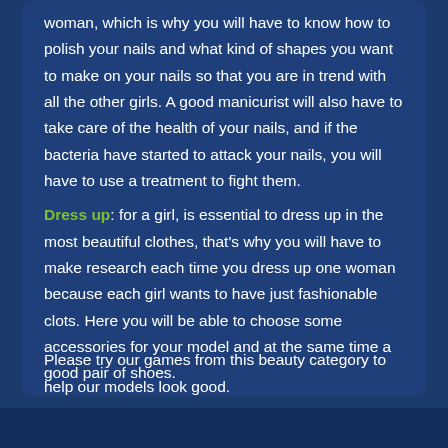woman, which is why you will have to know how to polish your nails and what kind of shapes you want to make on your nails so that you are in trend with all the other girls. A good manicurist will also have to take care of the health of your nails, and if the bacteria have started to attack your nails, you will have to use a treatment to fight them.
Dress up: for a girl, is essential to dress up in the most beautiful clothes, that's why you will have to make research each time you dress up one woman because each girl wants to have just fashionable clots. Here you will be able to choose some accessories for your model and at the same time a good pair of shoes.
Please try our games from this beauty category to help our models look good.